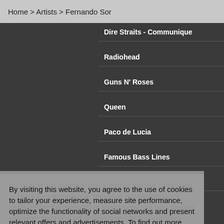Home > Artists > Fernando Sor
Dire Straits - Communique
Radiohead
Guns N' Roses
Queen
Paco de Lucia
Famous Bass Lines
Sting & The Police
Niccolò Paganini
David Bowie
The Eagles
Bob Dylan
Neil Young
Antonio Vivaldi
By visiting this website, you agree to the use of cookies to tailor your experience, measure site performance, optimize the functionality of social networks and present relevant offers and advertisements. To find out more and configure your settings, click here
I accept